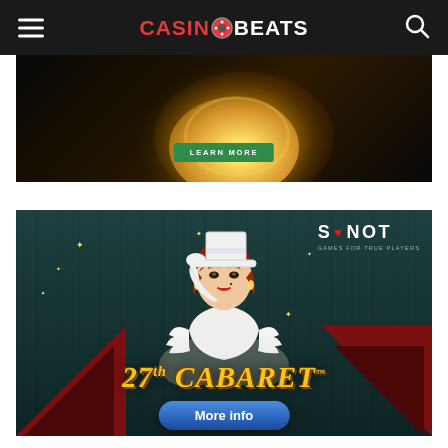CasinoBeats
[Figure (illustration): Dark themed casino advertisement banner with golden coins glowing, dark background, and a green 'LEARN MORE' button]
[Figure (illustration): SYNOT Games advertisement for '27th Cabaret' slot game featuring a glamorous red-haired woman in white feathered costume touching her white top hat, teal art-deco background, golden title text '27th CABARET', and a blue 'More info' button]